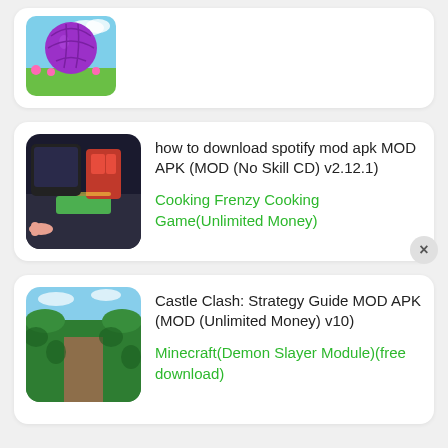[Figure (screenshot): Partial card showing a purple ball game icon on blue sky background with green grass and pink flowers]
how to download spotify mod apk MOD APK (MOD (No Skill CD) v2.12.1)
Cooking Frenzy Cooking Game(Unlimited Money)
Castle Clash: Strategy Guide MOD APK (MOD (Unlimited Money) v10)
Minecraft(Demon Slayer Module)(free download)